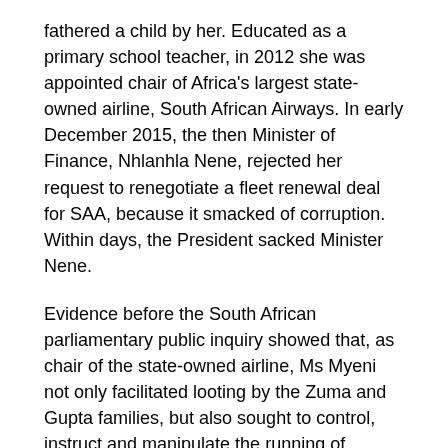fathered a child by her. Educated as a primary school teacher, in 2012 she was appointed chair of Africa's largest state-owned airline, South African Airways. In early December 2015, the then Minister of Finance, Nhlanhla Nene, rejected her request to renegotiate a fleet renewal deal for SAA, because it smacked of corruption. Within days, the President sacked Minister Nene.
Evidence before the South African parliamentary public inquiry showed that, as chair of the state-owned airline, Ms Myeni not only facilitated looting by the Zuma and Gupta families, but also sought to control, instruct and manipulate the running of another state-owned power utility, Eskom, from which the Gupta family, through an intricate network of companies, have siphoned off billions of rands, via various banks, including London-based banks which I am asking the British authorities to